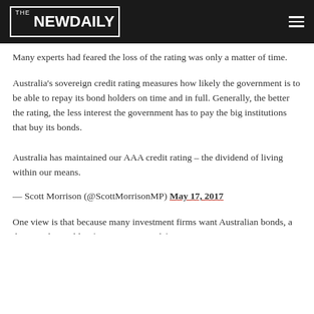THE NEW DAILY
Many experts had feared the loss of the rating was only a matter of time.
Australia's sovereign credit rating measures how likely the government is to be able to repay its bond holders on time and in full. Generally, the better the rating, the less interest the government has to pay the big institutions that buy its bonds.
Australia has maintained our AAA credit rating – the dividend of living within our means.
— Scott Morrison (@ScottMorrisonMP) May 17, 2017
One view is that because many investment firms want Australian bonds, a downgrade wouldn't force Treasury to lift